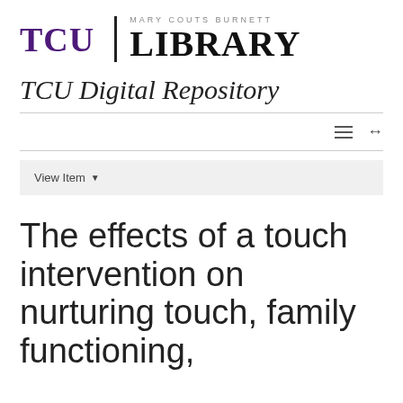[Figure (logo): TCU Mary Couts Burnett Library logo with purple TCU letters and LIBRARY in large serif font]
TCU Digital Repository
View Item
The effects of a touch intervention on nurturing touch, family functioning,